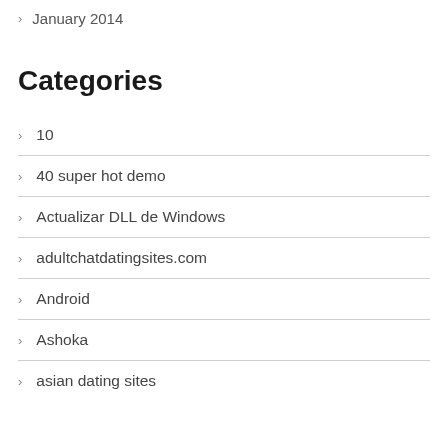January 2014
Categories
10
40 super hot demo
Actualizar DLL de Windows
adultchatdatingsites.com
Android
Ashoka
asian dating sites